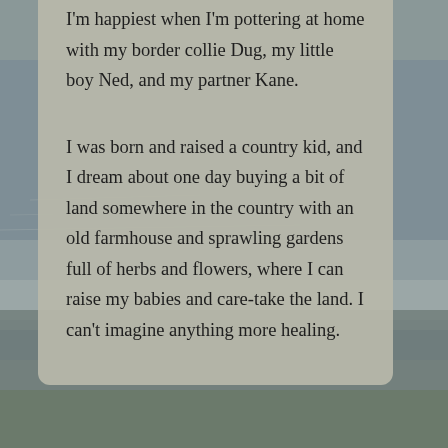[Figure (photo): Background photograph of a seascape/shoreline with grey-blue water and rocky shore, muted tones]
I'm happiest when I'm pottering at home with my border collie Dug, my little boy Ned, and my partner Kane.
I was born and raised a country kid, and I dream about one day buying a bit of land somewhere in the country with an old farmhouse and sprawling gardens full of herbs and flowers, where I can raise my babies and care-take the land. I can't imagine anything more healing.